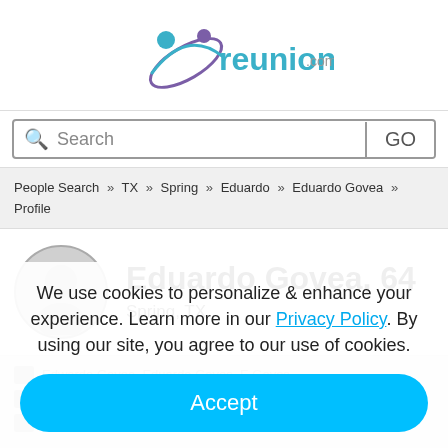[Figure (logo): reunion.com logo with teal text and purple/blue graphic icon of two people]
Search GO
People Search » TX » Spring » Eduardo » Eduardo Govea » Profile
Eduardo Govea, 64
Spring, TX
Edwardo Govea, Eduardo Goves, E Goves...
Senior Program Officer at Solutiond Johnson
We use cookies to personalize & enhance your experience. Learn more in our Privacy Policy. By using our site, you agree to our use of cookies.
Accept